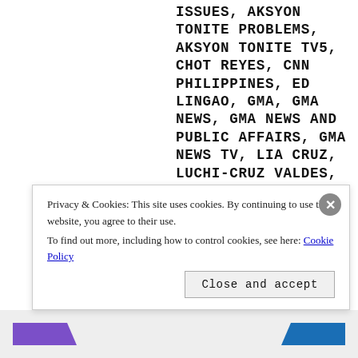ISSUES, AKSYON TONITE PROBLEMS, AKSYON TONITE TV5, CHOT REYES, CNN PHILIPPINES, ED LINGAO, GMA, GMA NEWS, GMA NEWS AND PUBLIC AFFAIRS, GMA NEWS TV, LIA CRUZ, LUCHI-CRUZ VALDES, MARGA VARGAS, NEWS5, NEWSROOM, NEWSROOM CNN PHILIPPINES, PBA ON SPORTS5, PBA ON TV5, SPORTS360, SPORTS360 TV5, STATE OF THE NATION, STATE OF THE NATION GMA NEWS TV, THE WORLD TONIGHT, THE WORLD TONIGHT ANC, TV5, TV5 ENTERTAINMENT PROGRAMS, TV5 ENTERTAINMENT SHOWS, TV5 FOREIGN PROGRAMS, TV5 FOREIGN SHOWS, TV5 PRIMETIME LINEUP, TV5 PROGRAMMING CHANGES, TV5...
Privacy & Cookies: This site uses cookies. By continuing to use this website, you agree to their use. To find out more, including how to control cookies, see here: Cookie Policy
Close and accept